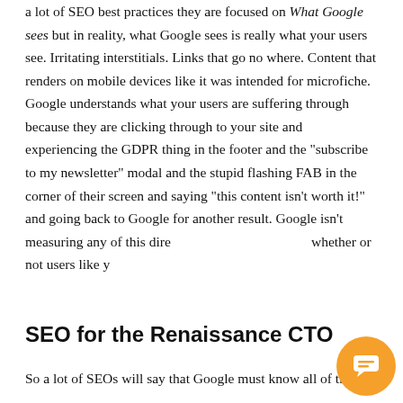a lot of SEO best practices they are focused on What Google sees but in reality, what Google sees is really what your users see. Irritating interstitials. Links that go no where. Content that renders on mobile devices like it was intended for microfiche. Google understands what your users are suffering through because they are clicking through to your site and experiencing the GDPR thing in the footer and the "subscribe to my newsletter" modal and the stupid flashing FAB in the corner of their screen and saying "this content isn't worth it!" and going back to Google for another result. Google isn't measuring any of this dire whether or not users like y
[Figure (other): Chat popup overlay with close button (×) and text 'Got any questions? I'm happy to help.' in blue, with an orange circular chat button in the bottom-right corner.]
SEO for the Renaissance CTO
So a lot of SEOs will say that Google must know all of these